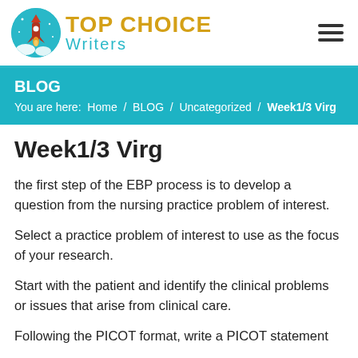[Figure (logo): Top Choice Writers logo with rocket icon in a teal circle and yellow/teal text]
BLOG
You are here:  Home  /  BLOG  /  Uncategorized  /  Week1/3 Virg
Week1/3 Virg
the first step of the EBP process is to develop a question from the nursing practice problem of interest.
Select a practice problem of interest to use as the focus of your research.
Start with the patient and identify the clinical problems or issues that arise from clinical care.
Following the PICOT format, write a PICOT statement